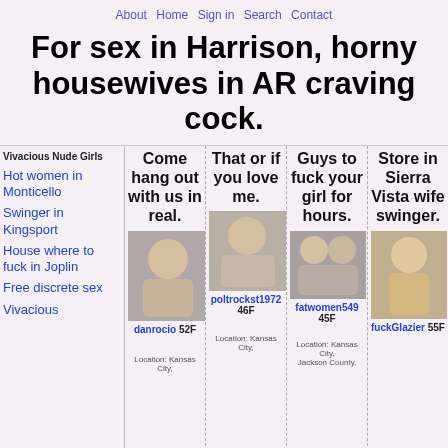About Home Sign in Search Contact
For sex in Harrison, horny housewives in AR craving cock.
Vivacious Nude Girls
Hot women in Monticello
Swinger in Kingsport
House where to fuck in Joplin
Free discrete sex
Vivacious
Come hang out with us in real.
[Figure (photo): Profile photo of danrocio, 52F]
danrocio 52F
Location: Kansas City,
That or if you love me.
[Figure (photo): Profile photo of poltrockst1972, 46F]
poltrockst1972 46F
Location: Kansas City,
Guys to fuck your girl for hours.
[Figure (photo): Profile photo of fatwomen549, 45F]
fatwomen549 45F
Location: Kansas City, Jackson County,
Store in Sierra Vista wife swinger.
[Figure (photo): Profile photo of fuckGlazier, 55F]
fuckGlazier 55F